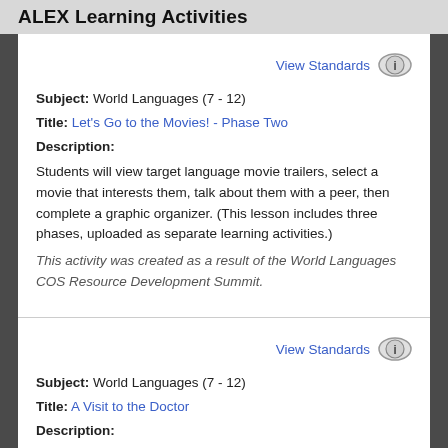ALEX Learning Activities
View Standards
Subject: World Languages (7 - 12)
Title: Let's Go to the Movies! - Phase Two
Description:
Students will view target language movie trailers, select a movie that interests them, talk about them with a peer, then complete a graphic organizer. (This lesson includes three phases, uploaded as separate learning activities.)
This activity was created as a result of the World Languages COS Resource Development Summit.
View Standards
Subject: World Languages (7 - 12)
Title: A Visit to the Doctor
Description:
Students will take turns either being a patient or a doctor...